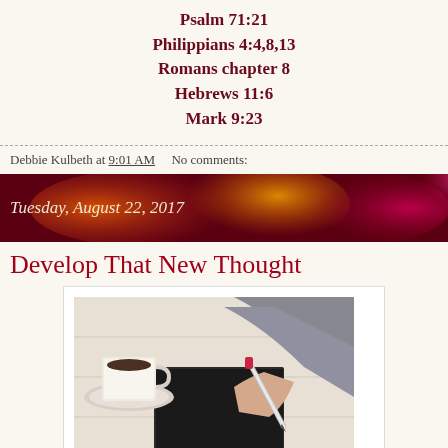Psalm 71:21
Philippians 4:4,8,13
Romans chapter 8
Hebrews 11:6
Mark 9:23
Debbie Kulbeth at 9:01 AM    No comments:
Tuesday, August 22, 2017
Develop That New Thought
[Figure (photo): Photo of a person's hand writing in a notebook with a pen, a white coffee cup on a saucer visible on the left, on a white wooden surface]